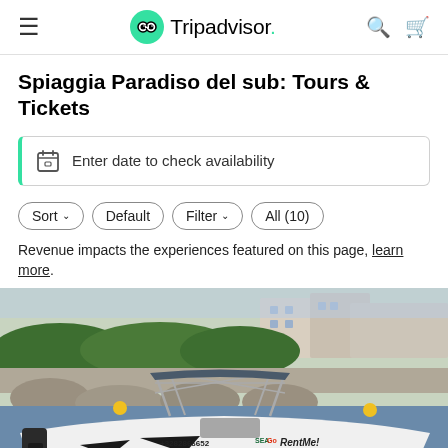Tripadvisor header with hamburger menu, logo, search and cart icons
Spiaggia Paradiso del sub: Tours & Tickets
Enter date to check availability
Sort Default   Filter All (10)
Revenue impacts the experiences featured on this page, learn more.
[Figure (photo): A white and yellow motorboat with a bimini top and outboard motor docked at a marina. The boat has the phone number +3282866652, SeaGo and RentMe! written on it. Background shows rocks, greenery and buildings.]